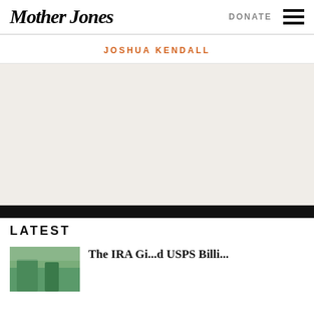Mother Jones | DONATE
JOSHUA KENDALL
[Figure (other): Advertisement placeholder area with light beige/off-white background]
LATEST
The IRA Gi... USPS Billi...